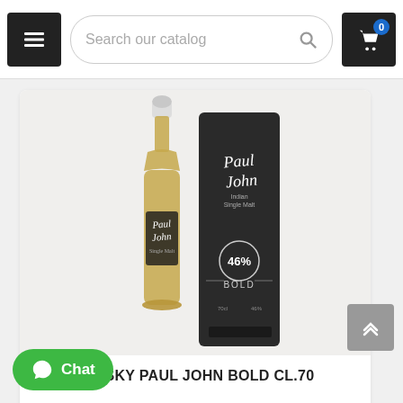[Figure (screenshot): E-commerce website navigation bar with hamburger menu, search bar labeled 'Search our catalog', and shopping cart icon with badge showing 0 items]
[Figure (photo): Paul John Bold Indian Single Malt Whisky bottle (amber colored liquid) alongside its dark cylindrical tube packaging showing 46% ABV and BOLD label, 70cl]
WHISKY PAUL JOHN BOLD CL.70
€54.60